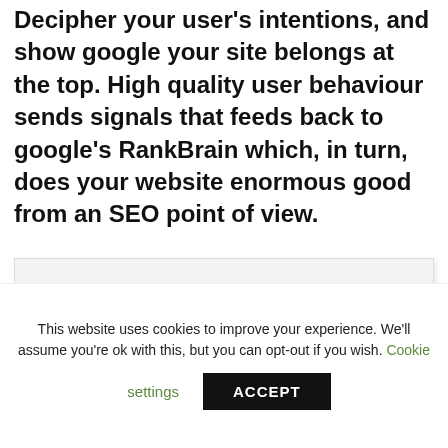Decipher your user's intentions, and show google your site belongs at the top. High quality user behaviour sends signals that feeds back to google's RankBrain which, in turn, does your website enormous good from an SEO point of view.
[Figure (other): A light gray empty image placeholder box with a subtle border and shadow]
This website uses cookies to improve your experience. We'll assume you're ok with this, but you can opt-out if you wish. Cookie settings ACCEPT